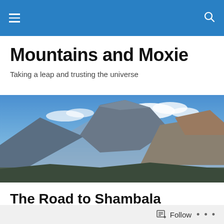Mountains and Moxie — navigation bar with hamburger menu and search icon
Mountains and Moxie
Taking a leap and trusting the universe
[Figure (photo): Panoramic photo of dramatic rocky mountain peaks under a blue sky with white clouds]
The Road to Shambala
Well waking up after our night out in Pokhara was a little hard, but not as bad as we all thought it would be. Emma
Follow • • •